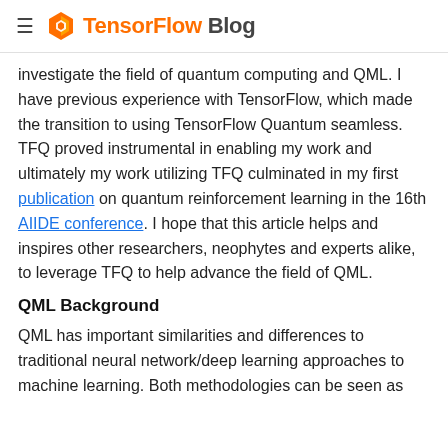≡ TensorFlow Blog
investigate the field of quantum computing and QML. I have previous experience with TensorFlow, which made the transition to using TensorFlow Quantum seamless. TFQ proved instrumental in enabling my work and ultimately my work utilizing TFQ culminated in my first publication on quantum reinforcement learning in the 16th AIIDE conference. I hope that this article helps and inspires other researchers, neophytes and experts alike, to leverage TFQ to help advance the field of QML.
QML Background
QML has important similarities and differences to traditional neural network/deep learning approaches to machine learning. Both methodologies can be seen as